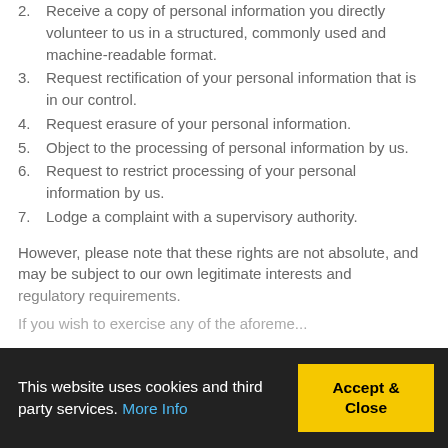2. Receive a copy of personal information you directly volunteer to us in a structured, commonly used and machine-readable format.
3. Request rectification of your personal information that is in our control.
4. Request erasure of your personal information.
5. Object to the processing of personal information by us.
6. Request to restrict processing of your personal information by us.
7. Lodge a complaint with a supervisory authority.
However, please note that these rights are not absolute, and may be subject to our own legitimate interests and regulatory requirements.
If you wish to exercise any of the aforeme...
This website uses cookies and third party services. More Info
Accept & Close